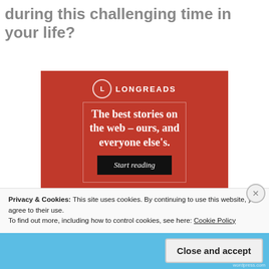What was one lesson you learned during this challenging time in your life?
[Figure (advertisement): Longreads advertisement banner with red background, circular L logo, tagline 'The best stories on the web – ours, and everyone else's.' and a 'Start reading' button]
Privacy & Cookies: This site uses cookies. By continuing to use this website, you agree to their use.
To find out more, including how to control cookies, see here: Cookie Policy
Close and accept